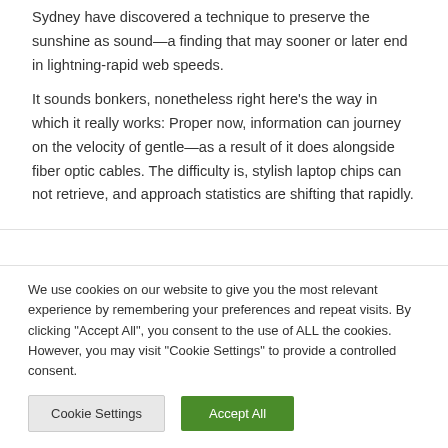Sydney have discovered a technique to preserve the sunshine as sound—a finding that may sooner or later end in lightning-rapid web speeds.
It sounds bonkers, nonetheless right here's the way in which it really works: Proper now, information can journey on the velocity of gentle—as a result of it does alongside fiber optic cables. The difficulty is, stylish laptop chips can not retrieve, and approach statistics are shifting that rapidly.
We use cookies on our website to give you the most relevant experience by remembering your preferences and repeat visits. By clicking "Accept All", you consent to the use of ALL the cookies. However, you may visit "Cookie Settings" to provide a controlled consent.